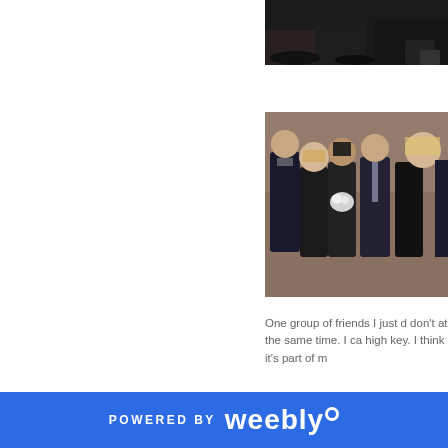[Figure (photo): Partial photo at top right, dark background showing feet/legs of people]
[Figure (photo): Group photo of Friends TV show cast members dressed formally, posing together]
One group of friends I just d don't at the same time. I ca high key. I think it's part of m
[Figure (photo): Two women, one blonde reading and one dark-haired, from what appears to be a TV show or movie]
POWERED BY weebly